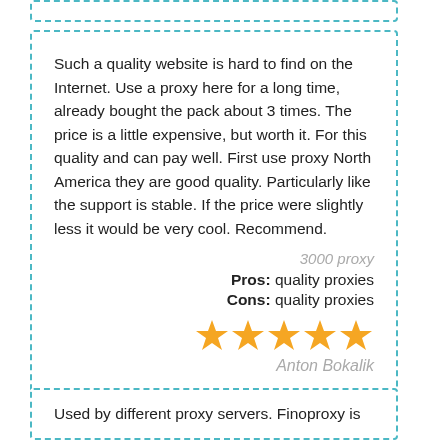Such a quality website is hard to find on the Internet. Use a proxy here for a long time, already bought the pack about 3 times. The price is a little expensive, but worth it. For this quality and can pay well. First use proxy North America they are good quality. Particularly like the support is stable. If the price were slightly less it would be very cool. Recommend.
3000 proxy
Pros:  quality proxies
Cons:  quality proxies
[Figure (other): Five gold star rating icons]
Anton Bokalik
Used by different proxy servers. Finoproxy is